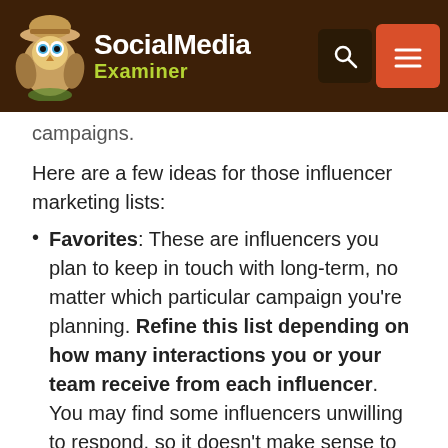Social Media Examiner
campaigns.
Here are a few ideas for those influencer marketing lists:
Favorites: These are influencers you plan to keep in touch with long-term, no matter which particular campaign you're planning. Refine this list depending on how many interactions you or your team receive from each influencer. You may find some influencers unwilling to respond, so it doesn't make sense to keep trying to interact with them.
Topic/Client: This type of list applies mostly to agencies and social media marketing service